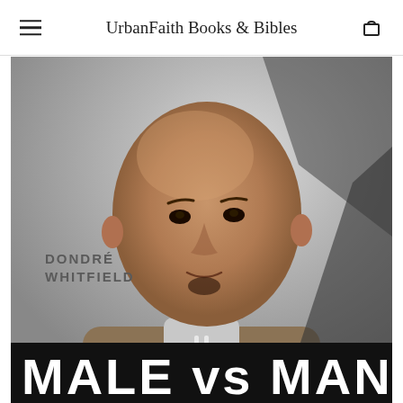UrbanFaith Books & Bibles
[Figure (photo): Book cover photo of Dondré Whitfield, a bald Black man looking directly at the camera, wearing a grey hoodie and tan blazer, set against a blurred grey background. The author name 'DONDRÉ WHITFIELD' appears on the left side of the cover, and the book title 'MALE vs. MAN' appears in large white bold text at the bottom on a dark background.]
MALE vs MAN